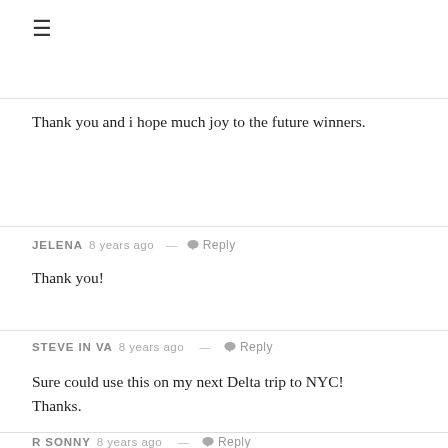≡
Thank you and i hope much joy to the future winners.
JELENA 8 years ago — Reply
Thank you!
STEVE IN VA 8 years ago — Reply
Sure could use this on my next Delta trip to NYC! Thanks.
R SONNY 8 years ago — Reply
I'd love to win this for a trip that I'm planning for my wife's